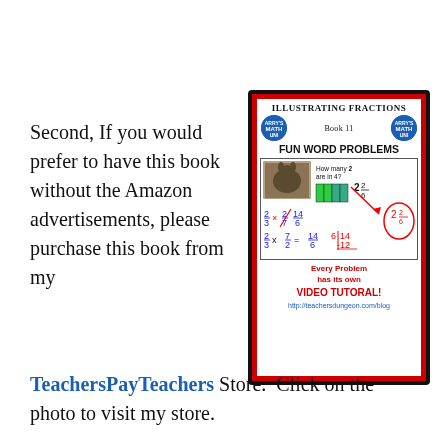Second, If you would prefer to have this book without the Amazon advertisements, please purchase this book from my
[Figure (illustration): Book cover for 'Illustrating Fractions Book 11 Fun Word Problems' with math equations shown, video tutorial note, and teachersdungeon.com/blog URL]
TeachersPayTeachers Store.  Click on the photo to visit my store.